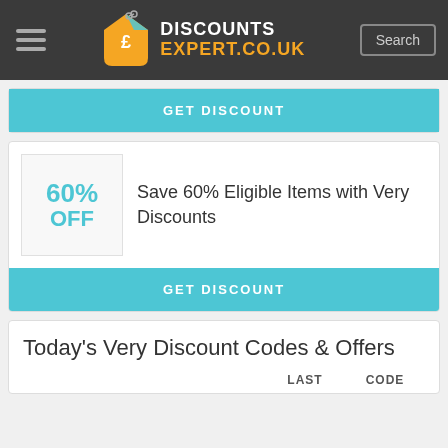DISCOUNTS EXPERT.CO.UK
GET DISCOUNT
60% OFF
Save 60% Eligible Items with Very Discounts
GET DISCOUNT
Today's Very Discount Codes & Offers
LAST    CODE